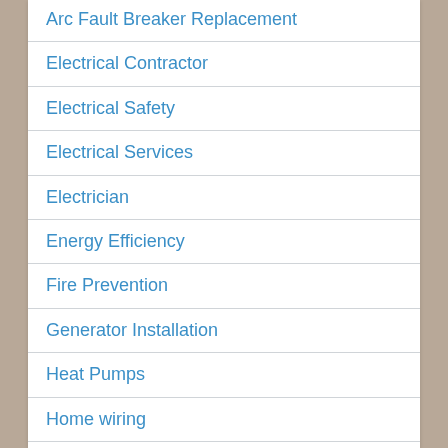Arc Fault Breaker Replacement
Electrical Contractor
Electrical Safety
Electrical Services
Electrician
Energy Efficiency
Fire Prevention
Generator Installation
Heat Pumps
Home wiring
Jensen Beach
Martin County
Master Electrician
Palm City